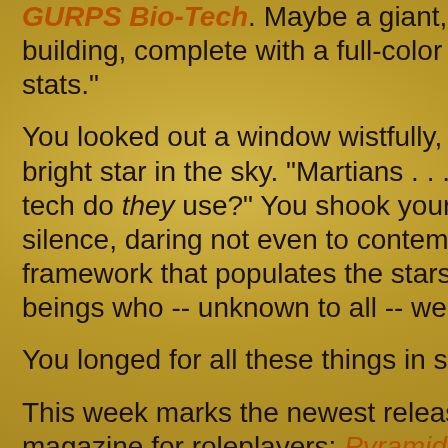compatible with the drugs from GURPS Bio-Tech. Maybe a giant, sinister, living building, complete with a full-color map and GURPS stats."

You looked out a window wistfully, seeing an overly bright star in the sky. "Martians . . . what kind of bio-tech do they use?" You shook your head in rueful silence, daring not even to contemplate a campaign framework that populates the stars with strange beings who -- unknown to all -- were once human.

You longed for all these things in silence -- until now.

This week marks the newest release of Pyramid, the magazine for roleplayers: Pyramid #3/24: Bio-Tech. As its name implies, this issue is devoted to all things bio-technical, including the aforementioned biomecha, drugs, Martians, and more. It even includes material you hadn't thought of, like a